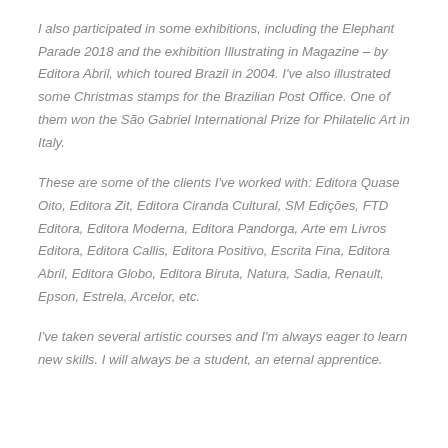I also participated in some exhibitions, including the Elephant Parade 2018 and the exhibition Illustrating in Magazine – by Editora Abril, which toured Brazil in 2004. I've also illustrated some Christmas stamps for the Brazilian Post Office. One of them won the São Gabriel International Prize for Philatelic Art in Italy.
These are some of the clients I've worked with: Editora Quase Oito, Editora Zit, Editora Ciranda Cultural, SM Edições, FTD Editora, Editora Moderna, Editora Pandorga, Arte em Livros Editora, Editora Callis, Editora Positivo, Escrita Fina, Editora Abril, Editora Globo, Editora Biruta, Natura, Sadia, Renault, Epson, Estrela, Arcelor, etc.
I've taken several artistic courses and I'm always eager to learn new skills. I will always be a student, an eternal apprentice.